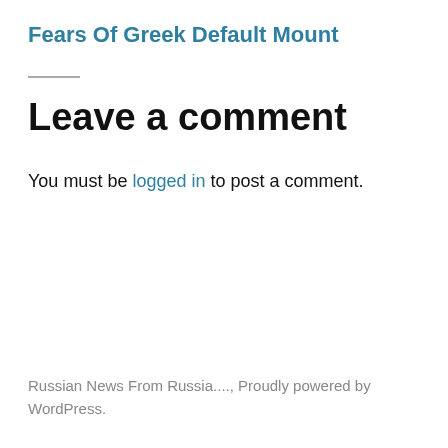Fears Of Greek Default Mount
Leave a comment
You must be logged in to post a comment.
Russian News From Russia...., Proudly powered by WordPress.